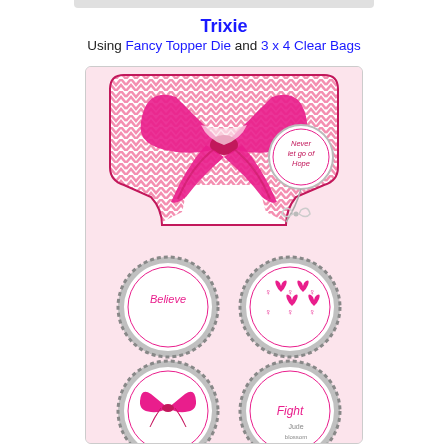Trixie
Using Fancy Topper Die and 3 x 4 Clear Bags
[Figure (photo): A pink breast cancer awareness craft project showing a chevron-patterned bag topper with a large pink ribbon and a circular tag reading 'Never let go of Hope' tied with a bow, above four decorative bottle caps with pink ribbon designs labeled 'Believe', ribbons pattern, pink ribbon, and 'Fight'.]